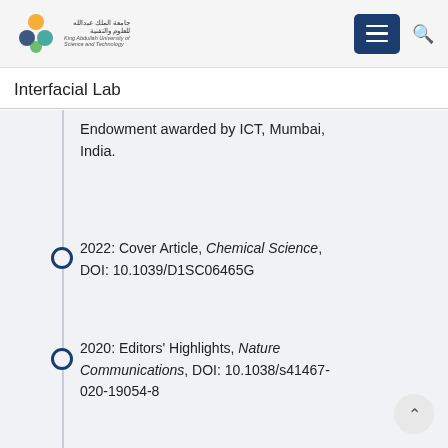Interfacial Lab — King Abdullah University of Science and Technology
Interfacial Lab
Endowment awarded by ICT, Mumbai, India.
2022: Cover Article, Chemical Science, DOI: 10.1039/D1SC06465G
2020: Editors' Highlights, Nature Communications, DOI: 10.1038/s41467-020-19054-8
2020: Cover Article, Advanced Materials Interfaces, DOI:10.1002/admi.202001268
2020: Cover Article, International Journal…